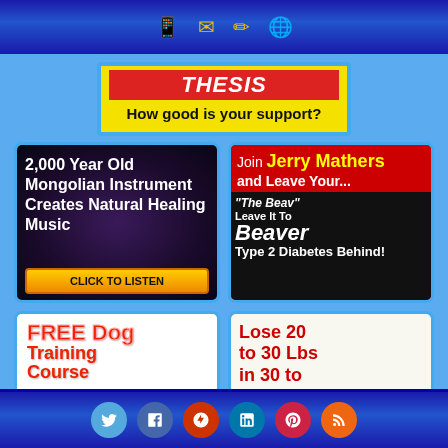Navigation icons: tablet, email, edit, globe
[Figure (illustration): Thesis ad - red banner with THESIS text and yellow background with 'How good is your support?' text]
[Figure (illustration): 2,000 Year Old Mongolian Instrument Creates Natural Healing Music - CLICK TO LISTEN]
[Figure (illustration): Join Jerry Mathers and Leave Your... The Beav Leave It To Beaver Type 2 Diabetes Behind!]
[Figure (illustration): FREE Dog Training Course - Click Here]
[Figure (illustration): Lose 20 to 30 Lbs in 30 to 40 days and keep it off!]
Social media icons: Twitter, Facebook, Google+, LinkedIn, Pinterest, RSS